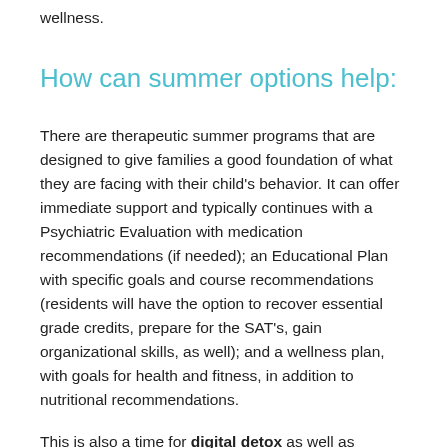wellness.
How can summer options help:
There are therapeutic summer programs that are designed to give families a good foundation of what they are facing with their child's behavior. It can offer immediate support and typically continues with a Psychiatric Evaluation with medication recommendations (if needed); an Educational Plan with specific goals and course recommendations (residents will have the option to recover essential grade credits, prepare for the SAT's, gain organizational skills, as well); and a wellness plan, with goals for health and fitness, in addition to nutritional recommendations.
This is also a time for digital detox as well as